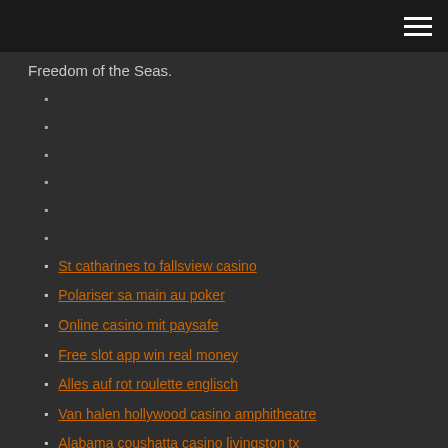Freedom of the Seas.
St catharines to fallsview casino
Polariser sa main au poker
Online casino mit paysafe
Free slot app win real money
Alles auf rot roulette englisch
Van halen hollywood casino amphitheatre
Alabama coushatta casino livingston tx